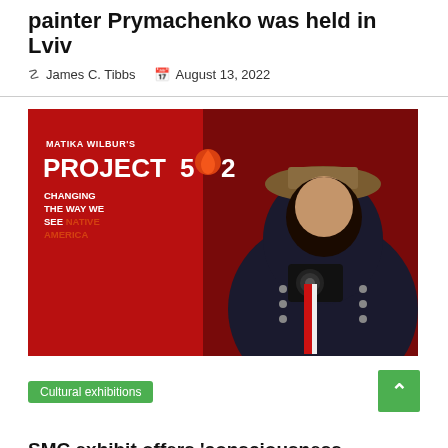painter Prymachenko was held in Lviv
James C. Tibbs    August 13, 2022
[Figure (photo): Promotional image for Matika Wilbur's Project 562 — Changing the Way We See Native America. A woman in traditional Native American dress and woven hat holds a camera against a deep red background.]
Cultural exhibitions
SMC exhibit offers 'consciousness shifting' photos of Indigenous people